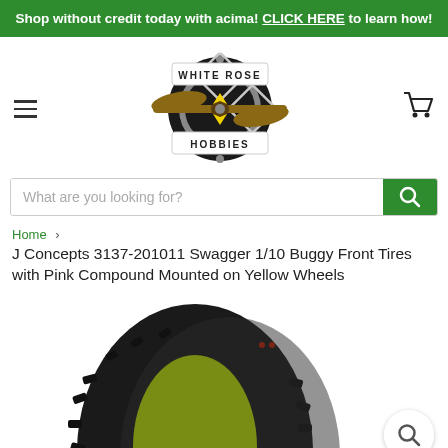Shop without credit today with acima! CLICK HERE to learn how!
[Figure (logo): White Rose Hobbies logo with propeller and circular gear design]
What are you looking for?
Home > J Concepts 3137-201011 Swagger 1/10 Buggy Front Tires with Pink Compound Mounted on Yellow Wheels
J Concepts 3137-201011 Swagger 1/10 Buggy Front Tires with Pink Compound Mounted on Yellow Wheels
[Figure (photo): Product photo of J Concepts Swagger 1/10 buggy front tires mounted on yellow wheels, showing black knobby tires with lime yellow foam inserts visible]